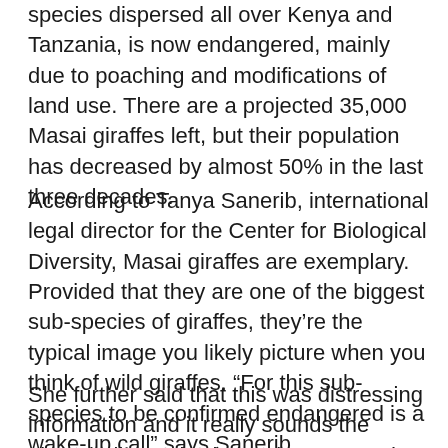species dispersed all over Kenya and Tanzania, is now endangered, mainly due to poaching and modifications of land use. There are a projected 35,000 Masai giraffes left, but their population has decreased by almost 50% in the last three decades.
According to Tanya Sanerib, international legal director for the Center for Biological Diversity, Masai giraffes are exemplary. Provided that they are one of the biggest sub-species of giraffes, they’re the typical image you likely picture when you think of wild giraffes. “For this sub-species to be confirmed endangered is a wake-up call” says Sanerib.
She further said that this was distressing information and it really sounds the alarm bell. It truly shows that we need to be doing more for